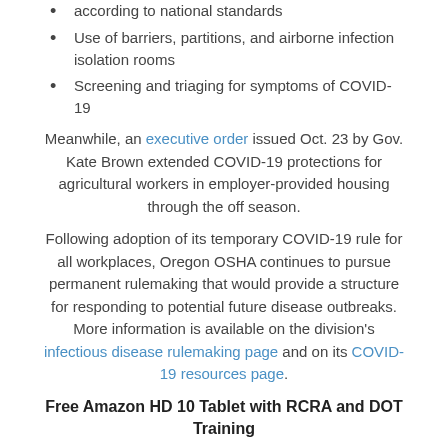according to national standards
Use of barriers, partitions, and airborne infection isolation rooms
Screening and triaging for symptoms of COVID-19
Meanwhile, an executive order issued Oct. 23 by Gov. Kate Brown extended COVID-19 protections for agricultural workers in employer-provided housing through the off season.
Following adoption of its temporary COVID-19 rule for all workplaces, Oregon OSHA continues to pursue permanent rulemaking that would provide a structure for responding to potential future disease outbreaks. More information is available on the division's infectious disease rulemaking page and on its COVID-19 resources page.
Free Amazon HD 10 Tablet with RCRA and DOT Training
Annual hazardous waste training